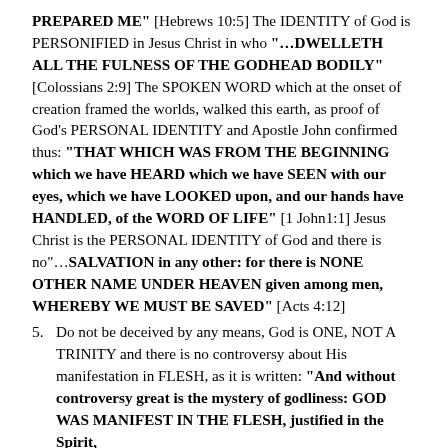PREPARED ME" [Hebrews 10:5] The IDENTITY of God is PERSONIFIED in Jesus Christ in who "…DWELLETH ALL THE FULNESS OF THE GODHEAD BODILY" [Colossians 2:9] The SPOKEN WORD which at the onset of creation framed the worlds, walked this earth, as proof of God's PERSONAL IDENTITY and Apostle John confirmed thus: "THAT WHICH WAS FROM THE BEGINNING which we have HEARD which we have SEEN with our eyes, which we have LOOKED upon, and our hands have HANDLED, of the WORD OF LIFE" [1 John1:1] Jesus Christ is the PERSONAL IDENTITY of God and there is no"…SALVATION in any other: for there is NONE OTHER NAME UNDER HEAVEN given among men, WHEREBY WE MUST BE SAVED" [Acts 4:12]
5. Do not be deceived by any means, God is ONE, NOT A TRINITY and there is no controversy about His manifestation in FLESH, as it is written: "And without controversy great is the mystery of godliness: GOD WAS MANIFEST IN THE FLESH, justified in the Spirit,